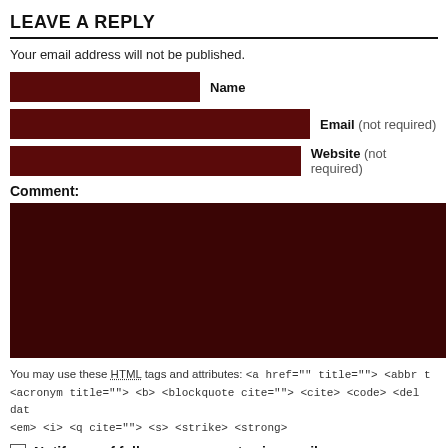LEAVE A REPLY
Your email address will not be published.
Name
Email (not required)
Website (not required)
Comment:
You may use these HTML tags and attributes: <a href="" title=""> <abbr t <acronym title=""> <b> <blockquote cite=""> <cite> <code> <del dat <em> <i> <q cite=""> <s> <strike> <strong>
Notify me of followup comments via e-mail
Post Comment